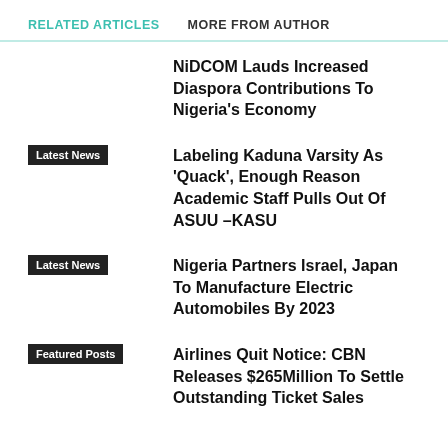RELATED ARTICLES   MORE FROM AUTHOR
NiDCOM Lauds Increased Diaspora Contributions To Nigeria's Economy
Labeling Kaduna Varsity As 'Quack', Enough Reason Academic Staff Pulls Out Of ASUU –KASU
Nigeria Partners Israel, Japan To Manufacture Electric Automobiles By 2023
Airlines Quit Notice: CBN Releases $265Million To Settle Outstanding Ticket Sales